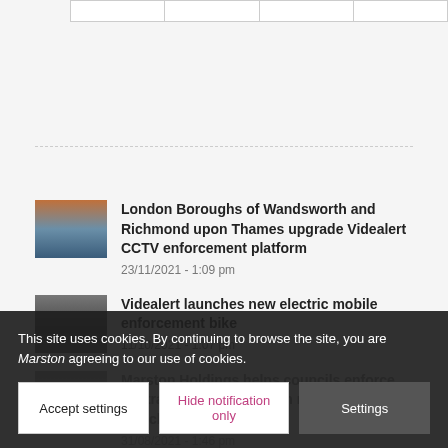|  |
London Boroughs of Wandsworth and Richmond upon Thames upgrade Videalert CCTV enforcement platform
23/11/2021 - 1:09 pm
Videalert launches new electric mobile enforcement bike
11/10/2021 - 1:07 pm
Marston Holdings helps councils enforce contraventions by foreign registered vehicles
31/08/2021 - 1:46 pm
Marston... top employers
...
This site uses cookies. By continuing to browse the site, you are agreeing to our use of cookies.
Accept settings | Hide notification only | Settings